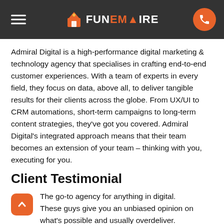FunEmpire
Admiral Digital is a high-performance digital marketing & technology agency that specialises in crafting end-to-end customer experiences. With a team of experts in every field, they focus on data, above all, to deliver tangible results for their clients across the globe. From UX/UI to CRM automations, short-term campaigns to long-term content strategies, they've got you covered. Admiral Digital's integrated approach means that their team becomes an extension of your team – thinking with you, executing for you.
Client Testimonial
The go-to agency for anything in digital. These guys give you an unbiased opinion on what's possible and usually overdeliver.
Jonas Wilbert